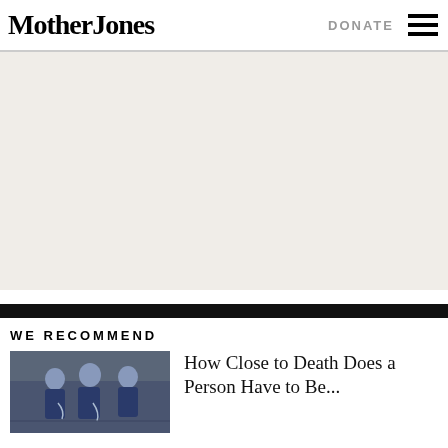Mother Jones | DONATE
[Figure (other): Advertisement placeholder area with light beige/gray background]
WE RECOMMEND
[Figure (photo): Medical professionals/nurses in blue scrubs in a hospital corridor]
How Close to Death Does a Person Have to Be...